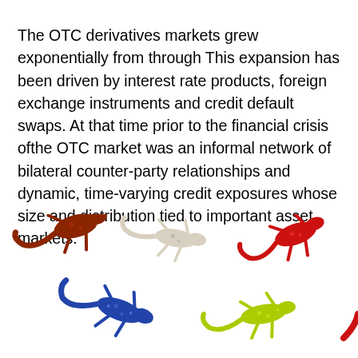The OTC derivatives markets grew exponentially from through This expansion has been driven by interest rate products, foreign exchange instruments and credit default swaps. At that time prior to the financial crisis ofthe OTC market was an informal network of bilateral counter-party relationships and dynamic, time-varying credit exposures whose size and distribution tied to important asset markets.
[Figure (illustration): Five colorful gecko/lizard toy figurines arranged in two rows: top row has a brownish-red lizard (left), a white/cream lizard (center), and a red lizard (right); bottom row has a blue glittery lizard (left-center) and a yellow-green lizard (right-center), with a partial red tail visible at far right.]